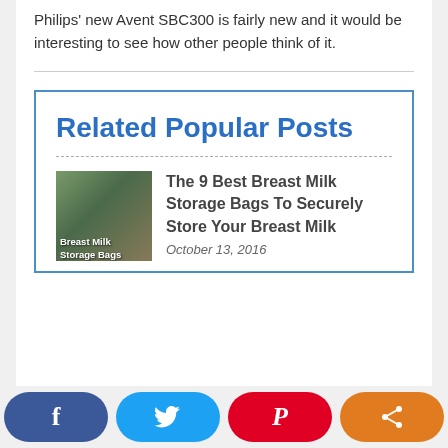Philips' new Avent SBC300 is fairly new and it would be interesting to see how other people think of it.
Related Popular Posts
The 9 Best Breast Milk Storage Bags To Securely Store Your Breast Milk
October 13, 2016
[Figure (infographic): Social sharing bar with Facebook (blue), Twitter (light blue), Pinterest (red), and Share (orange) buttons at the bottom of the page]